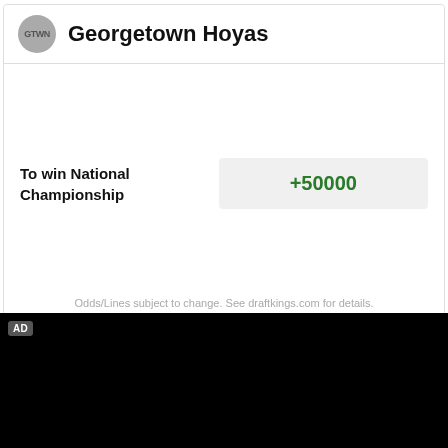Georgetown Hoyas
To win National Championship
+50000
Odds/Lines subject to change. See draftkings.com for details.
[Figure (other): Black advertisement block with AD badge in top-left corner]